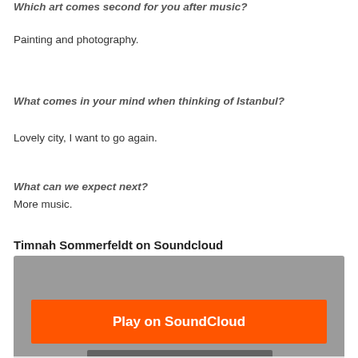Which art comes second for you after music?
Painting and photography.
What comes in your mind when thinking of Istanbul?
Lovely city, I want to go again.
What can we expect next?
More music.
Timnah Sommerfeldt on Soundcloud
[Figure (screenshot): Soundcloud embedded player widget with orange Play on SoundCloud button, Listen in browser button, waveform visualization, Privacy policy link, and Soundcloud logo watermark.]